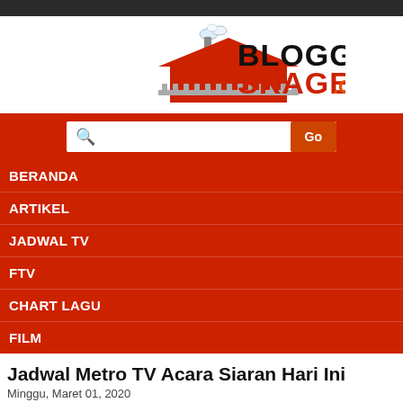[Figure (logo): BloggerSragen.com logo with red house illustration and bold text]
[Figure (screenshot): Search bar with Go button on red background]
BERANDA
ARTIKEL
JADWAL TV
FTV
CHART LAGU
FILM
Jadwal Metro TV Acara Siaran Hari Ini
Minggu, Maret 01, 2020
[Figure (logo): Metro TV logo in red and dark colors]
Jadwal Acara Metro TV